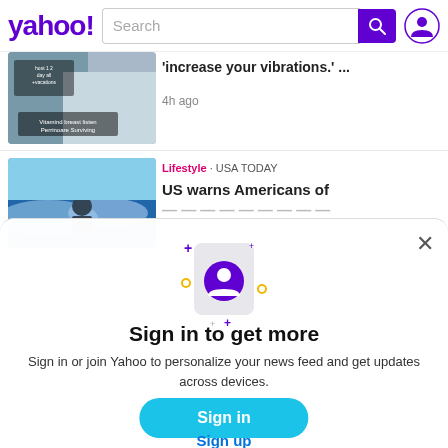[Figure (screenshot): Yahoo homepage header with logo, search bar, and profile icon]
[Figure (photo): Thumbnail image for first news article about vibrations]
'increase your vibrations.' ...
4h ago
[Figure (photo): Thumbnail image for second news article about US warning Americans]
Lifestyle · USA TODAY
US warns Americans of
[Figure (illustration): Sign in modal illustration with phone and user profile icon, decorative sparkles]
Sign in to get more
Sign in or join Yahoo to personalize your news feed and get updates across devices.
Sign in
Sign up